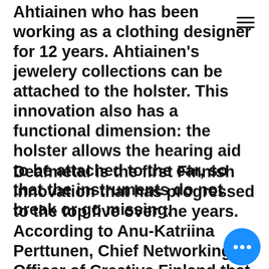Ahtiainen who has been working as a clothing designer for 12 years. Ahtiainen's jewelery collections can be attached to the holster. This innovation also has a functional dimension: the holster allows the hearing aid to be attached to the ear, so that the instruments do not break or go missing.
Deafmetal is the first Finnish innovation that has progressed to the top five over the years. According to Anu-Katriina Perttunen, Chief Networking Officer of Creative Finland that organizes the tournament in Finland, Ahtiainen's achievement